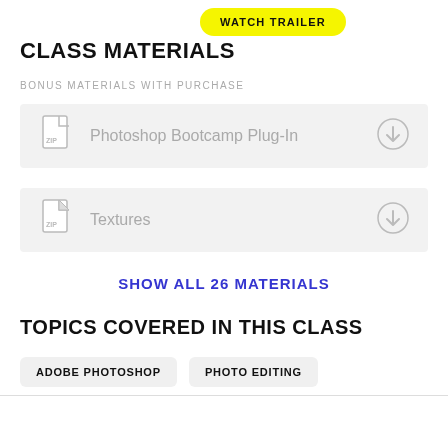WATCH TRAILER
CLASS MATERIALS
BONUS MATERIALS WITH PURCHASE
Photoshop Bootcamp Plug-In
Textures
SHOW ALL 26 MATERIALS
TOPICS COVERED IN THIS CLASS
ADOBE PHOTOSHOP
PHOTO EDITING